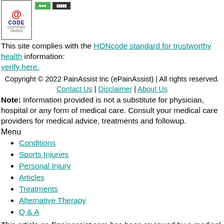[Figure (logo): HONcode certified logo with @ symbol, CODE text, CERTIFIED 05/2019 date, and green/dark badges]
This site complies with the HONcode standard for trustworthy health information: verify here.
Copyright © 2022 PainAssist Inc (ePainAssist) | All rights reserved. Contact Us | Disclaimer | About Us
Note: Information provided is not a substitute for physician, hospital or any form of medical care. Consult your medical care providers for medical advice, treatments and followup.
Menu
Conditions
Sports Injuries
Personal Injury
Articles
Treatments
Alternative Therapy
Q & A
This article on Epainassist.com has been reviewed by a medical professional, as well as checked for facts, to assure the readers the best possible accuracy.